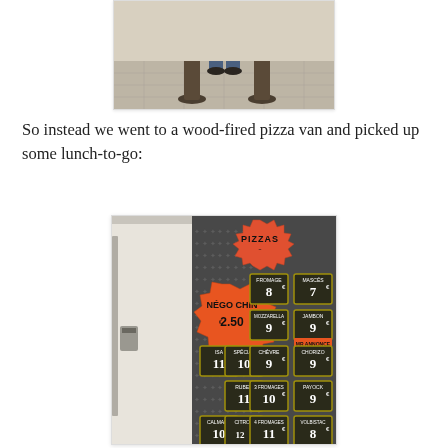[Figure (photo): Bottom of photo showing two decorative stone bollards and feet of a person on a paved surface]
So instead we went to a wood-fired pizza van and picked up some lunch-to-go:
[Figure (photo): Interior of a wood-fired pizza van showing a menu board with many pizzas listed on chalkboard signs against a patterned grey background. A large orange starburst sign reads 'NÉGO CHIN 2.50'. The header reads 'PIZZAS'. Various pizza options are listed with prices ranging from approximately 8€ to 12€.]